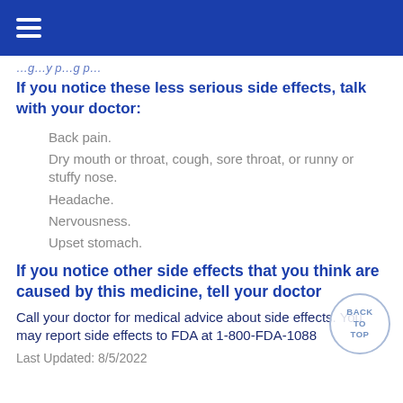If you notice these less serious side effects, talk with your doctor:
Back pain.
Dry mouth or throat, cough, sore throat, or runny or stuffy nose.
Headache.
Nervousness.
Upset stomach.
If you notice other side effects that you think are caused by this medicine, tell your doctor
Call your doctor for medical advice about side effects. You may report side effects to FDA at 1-800-FDA-1088
Last Updated: 8/5/2022